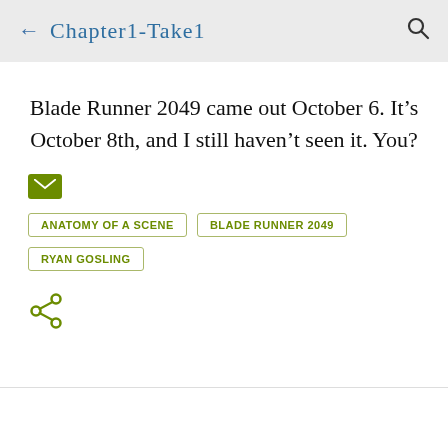← Chapter1-Take1
Blade Runner 2049 came out October 6. It’s October 8th, and I still haven’t seen it. You?
[Figure (other): Green envelope/email icon]
ANATOMY OF A SCENE
BLADE RUNNER 2049
RYAN GOSLING
[Figure (other): Green share icon]